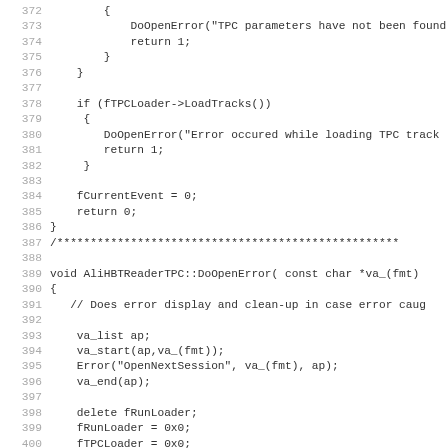[Figure (screenshot): Source code listing showing C++ code for AliHBTReaderTPC class, lines 372-403. Includes error handling for TPC parameters, LoadTracks(), DoOpenError, and related cleanup code.]